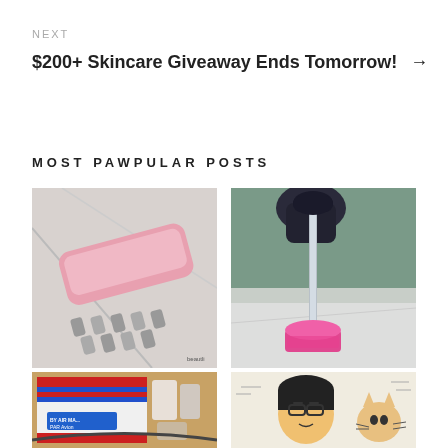NEXT
$200+ Skincare Giveaway Ends Tomorrow! →
MOST PAWPULAR POSTS
[Figure (photo): Pink hair straightener brush on marble surface]
[Figure (photo): Hand holding a dropper over a small pink bottle of serum]
[Figure (photo): Air mail envelope with beauty products on cork board]
[Figure (photo): Illustrated cartoon person with cat]